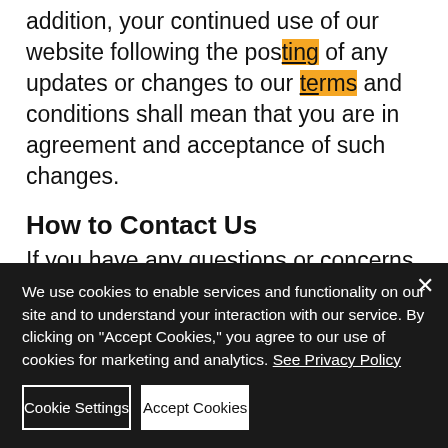addition, your continued use of our website following the posting of any updates or changes to our terms and conditions shall mean that you are in agreement and acceptance of such changes.
How to Contact Us
If you have any questions or concerns regarding this Privacy Policy, please feel free to contact us:
Email: sales@surveyorshawaii.com
Phone: (808) 676-7944
Mailing Add...
We use cookies to enable services and functionality on our site and to understand your interaction with our service. By clicking on "Accept Cookies," you agree to our use of cookies for marketing and analytics. See Privacy Policy
Cookie Settings
Accept Cookies